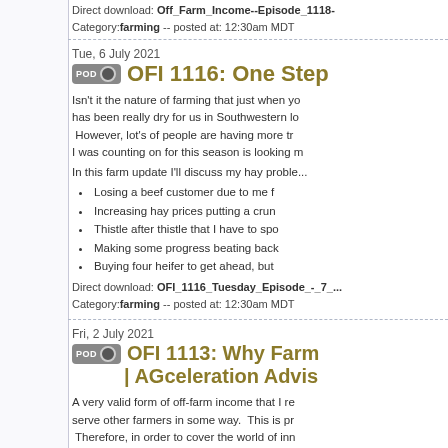Direct download: Off_Farm_Income--Episode_1118-
Category: farming -- posted at: 12:30am MDT
Tue, 6 July 2021
OFI 1116: One Step
Isn't it the nature of farming that just when you... has been really dry for us in Southwestern lo... However, lot's of people are having more tr... I was counting on for this season is looking m...
In this farm update I'll discuss my hay proble...
Losing a beef customer due to me f...
Increasing hay prices putting a crun...
Thistle after thistle that I have to spo...
Making some progress beating back...
Buying four heifer to get ahead, but...
Direct download: OFI_1116_Tuesday_Episode_-_7_...
Category: farming -- posted at: 12:30am MDT
Fri, 2 July 2021
OFI 1113: Why Farm... | AGceleration Advis...
A very valid form of off-farm income that I re... serve other farmers in some way. This is pr... Therefore, in order to cover the world of inn... is joining us on the show to discuss the worl...
In today's episode we will be discussing: